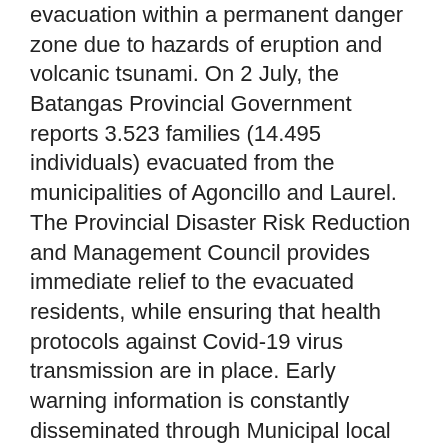evacuation within a permanent danger zone due to hazards of eruption and volcanic tsunami. On 2 July, the Batangas Provincial Government reports 3.523 families (14.495 individuals) evacuated from the municipalities of Agoncillo and Laurel. The Provincial Disaster Risk Reduction and Management Council provides immediate relief to the evacuated residents, while ensuring that health protocols against Covid-19 virus transmission are in place. Early warning information is constantly disseminated through Municipal local government units (ECHO, 2 Jul 2021)
A total of 376 families or 1,495 persons were affected by the Taal Volcano eruption in CALABARZON. There are 330 families or 1,306 persons taking temporary shelter in 12 evacuation centers in CALABARZON. There are 46 families or 189 persons currently staying with their relatives and/or friends. DSWD-FO CALABARZON EOC coordinated with NRLMB for the delivery of 3,500 family